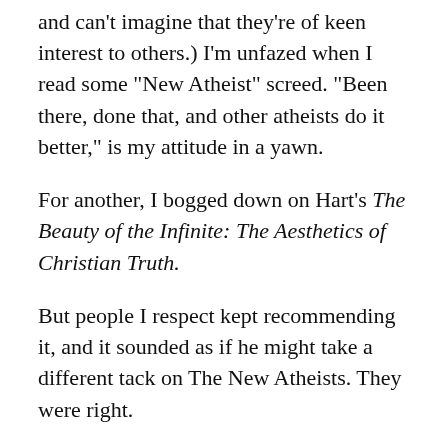and can't imagine that they're of keen interest to others.) I'm unfazed when I read some “New Atheist” screed. “Been there, done that, and other atheists do it better,” is my attitude in a yawn.
For another, I bogged down on Hart’s The Beauty of the Infinite: The Aesthetics of Christian Truth.
But people I respect kept recommending it, and it sounded as if he might take a different tack on The New Atheists. They were right.
I may be posting some more on this book over the next few days or weeks. What I post now is just some select thought.
First of all, Hart doesn’t make the mistake of arguing, in effect, that Christianity is a feel-good, warm-hearted...